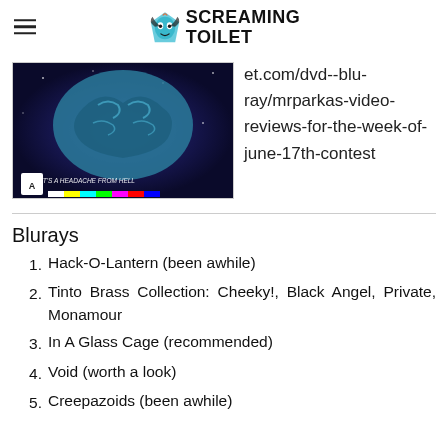SCREAMING TOILET
[Figure (photo): Movie cover art showing a brain with cosmic background and text 'IT'S A HEADACHE FROM HELL', Arrow Video logo and colored bar strip at bottom]
et.com/dvd--blu-ray/mrparkas-video-reviews-for-the-week-of-june-17th-contest
Blurays
Hack-O-Lantern (been awhile)
Tinto Brass Collection: Cheeky!, Black Angel, Private, Monamour
In A Glass Cage (recommended)
Void (worth a look)
Creepazoids (been awhile)